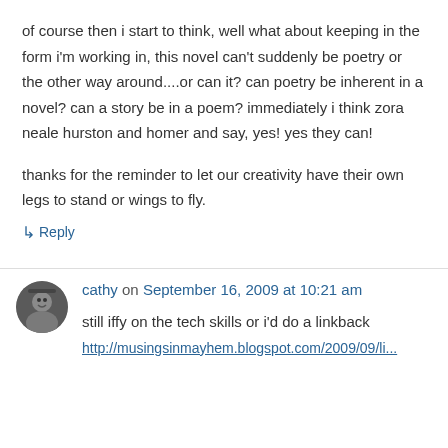of course then i start to think, well what about keeping in the form i'm working in, this novel can't suddenly be poetry or the other way around....or can it? can poetry be inherent in a novel? can a story be in a poem? immediately i think zora neale hurston and homer and say, yes! yes they can!
thanks for the reminder to let our creativity have their own legs to stand or wings to fly.
↳ Reply
cathy on September 16, 2009 at 10:21 am
still iffy on the tech skills or i'd do a linkback
http://musingsinmayhem.blogspot.com/2009/09/li...